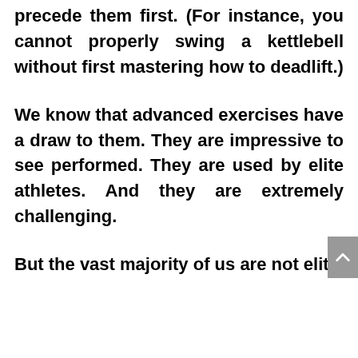precede them first. (For instance, you cannot properly swing a kettlebell without first mastering how to deadlift.)
We know that advanced exercises have a draw to them. They are impressive to see performed. They are used by elite athletes. And they are extremely challenging.
But the vast majority of us are not elite